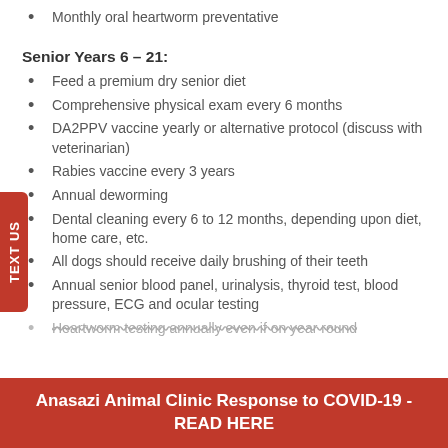Monthly oral heartworm preventative
Senior Years 6 – 21:
Feed a premium dry senior diet
Comprehensive physical exam every 6 months
DA2PPV vaccine yearly or alternative protocol (discuss with veterinarian)
Rabies vaccine every 3 years
Annual deworming
Dental cleaning every 6 to 12 months, depending upon diet, home care, etc.
All dogs should receive daily brushing of their teeth
Annual senior blood panel, urinalysis, thyroid test, blood pressure, ECG and ocular testing
Heartworm testing annually even if on year round
Anasazi Animal Clinic Response to COVID-19 - READ HERE